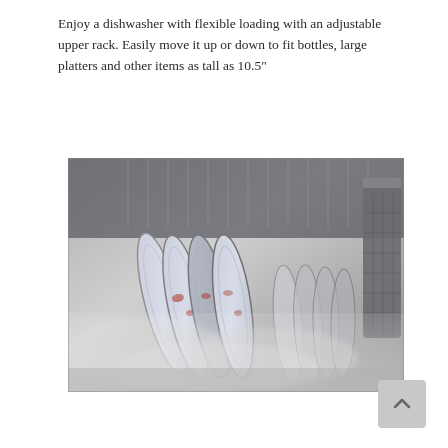Enjoy a dishwasher with flexible loading with an adjustable upper rack. Easily move it up or down to fit bottles, large platters and other items as tall as 10.5"
[Figure (photo): Black and white photo showing dishes loaded in a dishwasher rack with steam visible. Multiple plates and bowls are standing upright in the dishwasher basket.]